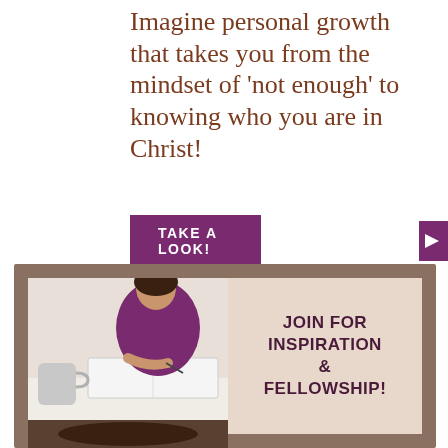Imagine personal growth that takes you from the mindset of 'not enough' to knowing who you are in Christ!
TAKE A LOOK!
[Figure (infographic): Bottom card with brownish-taupe border, containing a photo of a woman writing at a desk with a mug and books, beside text 'JOIN FOR INSPIRATION & FELLOWSHIP!' on a beige background]